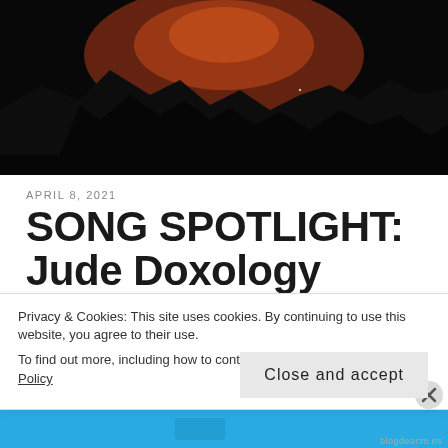[Figure (photo): Dark mountain silhouette scene with orange/red sky gradient at the top, black foreground]
APRIL 8, 2021
SONG SPOTLIGHT: Jude Doxology
Privacy & Cookies: This site uses cookies. By continuing to use this website, you agree to their use.
To find out more, including how to control cookies, see here: Cookie Policy
Close and accept
[Figure (screenshot): Blue banner at the bottom of the page]